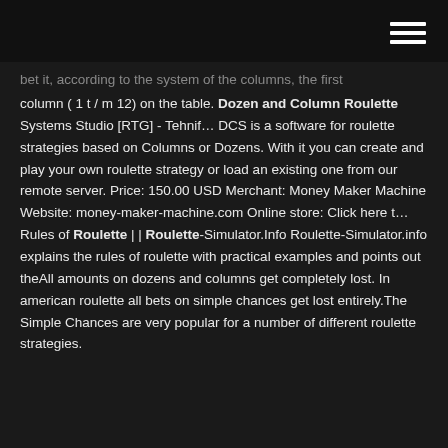bet it, according to the system of the columns, the first column ( 1 t / m 12) on the table. Dozen and Column Roulette Systems Studio [RTG] - Tehnif… DCS is a software for roulette strategies based on Columns or Dozens. With it you can create and play your own roulette strategy or load an existing one from our remote server. Price: 150.00 USD Merchant: Money Maker Machine Website: money-maker-machine.com Online store: Click here t… Rules of Roulette | | Roulette-Simulator.Info Roulette-Simulator.info explains the rules of roulette with practical examples and points out theAll amounts on dozens and columns get completely lost. In american roulette all bets on simple chances get lost entirely.The Simple Chances are very popular for a number of different roulette strategies.